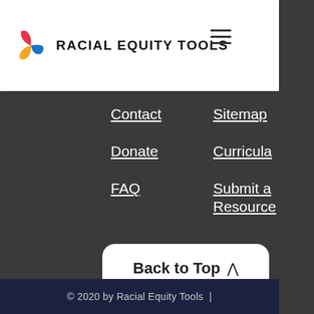RACIAL EQUITY TOOLS
Contact
Sitemap
Donate
Curricula
FAQ
Submit a Resource
Glossary
Back to Top
© 2020 by Racial Equity Tools  |